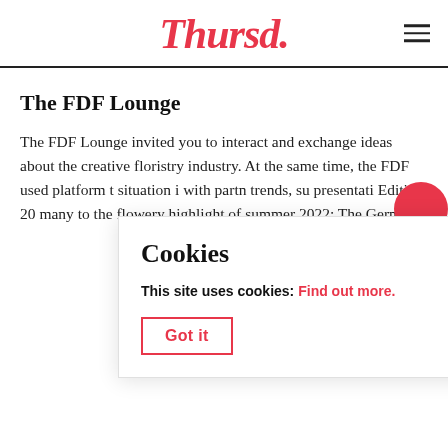Thursd.
The FDF Lounge
The FDF Lounge invited you to interact and exchange ideas about the creative floristry industry. At the same time, the FDF used platform t situation i with partn trends, su presentati Edition 20 many to the flowery highlight of summer 2022: The German
Cookies
This site uses cookies: Find out more.
Got it